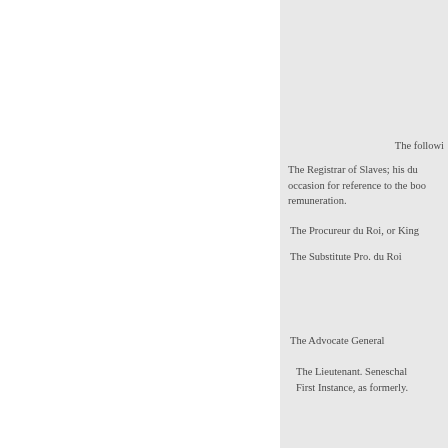The following
The Registrar of Slaves; his du occasion for reference to the boo remuneration.
The Procureur du Roi, or King
The Substitute Pro. du Roi
The Advocate General
The Lieutenant. Seneschal First Instance, as formerly.